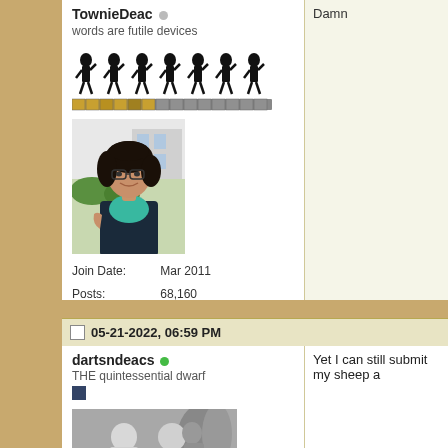TownieDeac (online indicator)
words are futile devices
[Figure (illustration): Row of pixel-art marching figures (knights/soldiers) in black silhouette, with a progress bar below]
[Figure (photo): Profile photo of a woman with curly dark hair, glasses, wearing a teal top and dark blazer, outdoors]
Join Date:    Mar 2011
Posts:    68,160
Damn
05-21-2022, 06:59 PM
dartsndeacs (online indicator)
THE quintessential dwarf
[Figure (photo): Black and white photo of a man and woman holding hands, man wearing a belt, woman in light top]
Yet I can still submit my sheep a